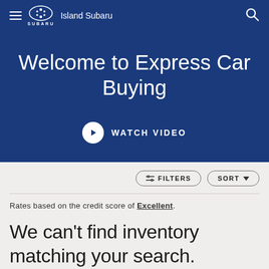Island Subaru
Welcome to Express Car Buying
WATCH VIDEO
FILTERS   SORT
Rates based on the credit score of Excellent.
We can't find inventory matching your search.
NEED HELP?